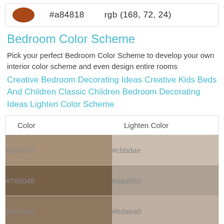[Figure (other): Brown oval color swatch with hex code #a84818 and rgb(168, 72, 24)]
Bedroom Color Scheme
Pick your perfect Bedroom Color Scheme to develop your own interior color scheme and even design entire rooms
Creative Bedroom Decorating Ideas Creative Kids Beds And Children Classic Children Bedroom Decorating Ideas Lighten Color Scheme
| Color | Lighten Color |
| --- | --- |
| #a89078 | #cbbdae |
| #786048 | #aea092 |
| #907860 | #bdaea0 |